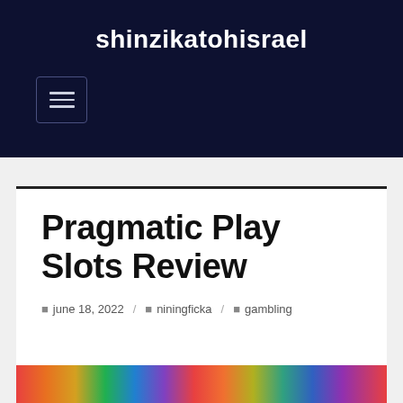shinzikatohisrael
Pragmatic Play Slots Review
june 18, 2022 / niningficka / gambling
[Figure (illustration): Colorful horizontal banner strip with multiple vibrant colors]